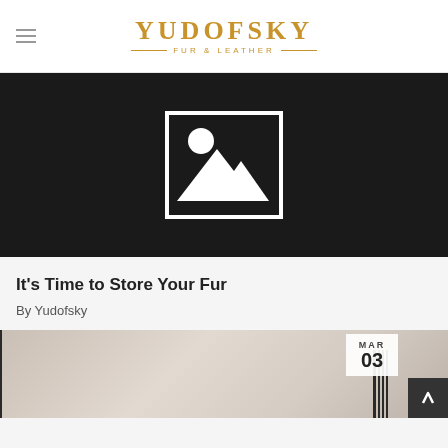YUDOFSKY FUR & LEATHER
[Figure (photo): Dark placeholder image with white mountain/landscape icon in center]
It's Time to Store Your Fur
By Yudofsky
[Figure (photo): Interior room photo with date badge showing MAR 03]